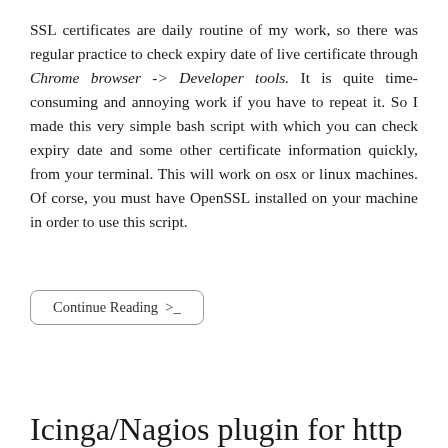SSL certificates are daily routine of my work, so there was regular practice to check expiry date of live certificate through Chrome browser -> Developer tools. It is quite time-consuming and annoying work if you have to repeat it. So I made this very simple bash script with which you can check expiry date and some other certificate information quickly, from your terminal. This will work on osx or linux machines. Of corse, you must have OpenSSL installed on your machine in order to use this script.
Continue Reading >_
Icinga/Nagios plugin for http